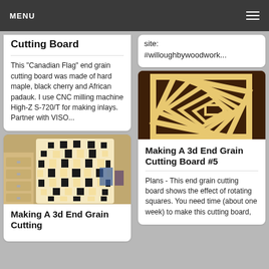MENU
Cutting Board
This "Canadian Flag" end grain cutting board was made of hard maple, black cherry and African padauk. I use CNC milling machine High-Z S-720/T for making inlays. Partner with VISO...
site: #willoughbywoodwork...
[Figure (photo): Wooden cutting board with rotating squares 3D end grain pattern]
Making A 3d End Grain Cutting Board #5
Plans - This end grain cutting board shows the effect of rotating squares. You need time (about one week) to make this cutting board,
[Figure (photo): Checkerboard pattern end grain cutting board with black and white squares in a wavy optical illusion pattern]
Making A 3d End Grain Cutting